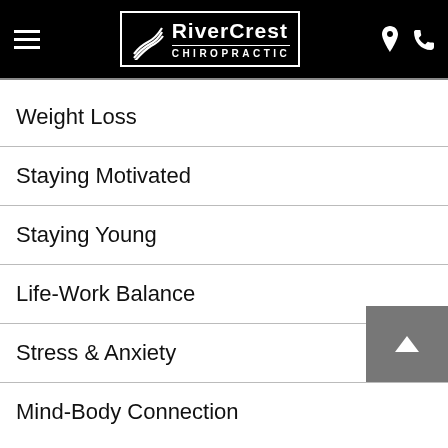RiverCrest Chiropractic
Weight Loss
Staying Motivated
Staying Young
Life-Work Balance
Stress & Anxiety
Mind-Body Connection